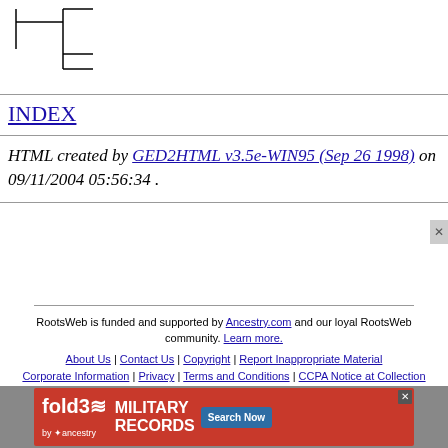[Figure (other): Genealogy tree diagram with vertical and horizontal lines showing family connections]
INDEX
HTML created by GED2HTML v3.5e-WIN95 (Sep 26 1998) on 09/11/2004 05:56:34 .
RootsWeb is funded and supported by Ancestry.com and our loyal RootsWeb community. Learn more.
About Us | Contact Us | Copyright | Report Inappropriate Material | Corporate Information | Privacy | Terms and Conditions | CCPA Notice at Collection